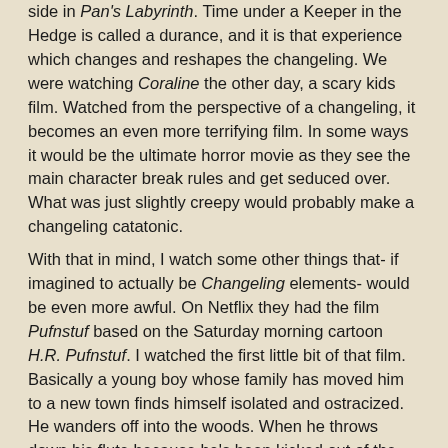side in Pan's Labyrinth. Time under a Keeper in the Hedge is called a durance, and it is that experience which changes and reshapes the changeling. We were watching Coraline the other day, a scary kids film. Watched from the perspective of a changeling, it becomes an even more terrifying film. In some ways it would be the ultimate horror movie as they see the main character break rules and get seduced over. What was just slightly creepy would probably make a changeling catatonic.
With that in mind, I watch some other things that- if imagined to actually be Changeling elements- would be even more awful. On Netflix they had the film Pufnstuf based on the Saturday morning cartoon H.R. Pufnstuf. I watched the first little bit of that film. Basically a young boy whose family has moved him to a new town finds himself isolated and ostracized. He wanders off into the woods. When he throws down his flute because he's been kicked out of the band, it comes to life and begins talking to him. It promises to be his friend, says that it will show him new places and new adventures. Then it leads him to a lake, where it encourages the boy to board a talking boat which will sail him to a new